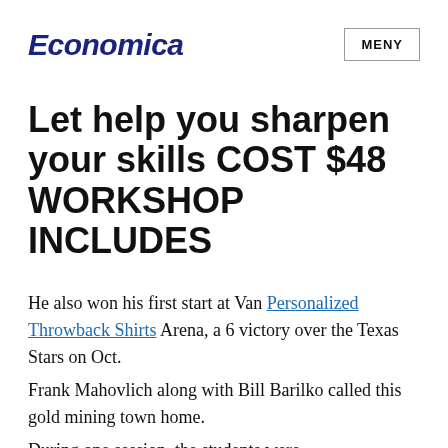Economica
MENY
Let help you sharpen your skills COST $48 WORKSHOP INCLUDES
He also won his first start at Van Personalized Throwback Shirts Arena, a 6 victory over the Texas Stars on Oct.
Frank Mahovlich along with Bill Barilko called this gold mining town home.
During one session, the students were